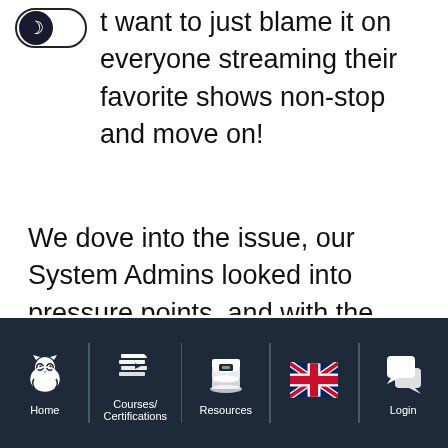time-outs. This was a puzzle to solve and we didn't want to just blame it on everyone streaming their favorite shows non-stop and move on!
We dove into the issue, our System Admins looked into pressure points, and with the help of community members we were able to run enough tests to diagnose the problem. In the end, it looks like our Content Distribution/Delivery Network (geographically distributed servers used to help get content to end users) was creaking under the internet
Home | Courses/Certifications | Resources | [UK flag] | Login